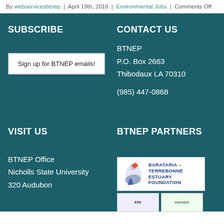By webservicesbtnep | April 19th, 2018 | Environmental Jobs | Comments Off
SUBSCRIBE
Sign up for BTNEP emails!
CONTACT US
BTNEP
P.O. Box 2663
Thibodaux LA 70310

(985) 447-0868
VISIT US
BTNEP Office
Nicholls State University
320 Audubon
BTNEP PARTNERS
[Figure (logo): Barataria-Terrebonne Estuary Foundation logo with bird illustration and blue text]